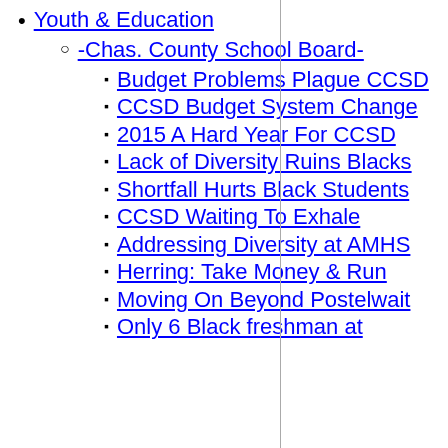Youth & Education
-Chas. County School Board-
Budget Problems Plague CCSD
CCSD Budget System Change
2015 A Hard Year For CCSD
Lack of Diversity Ruins Blacks
Shortfall Hurts Black Students
CCSD Waiting To Exhale
Addressing Diversity at AMHS
Herring: Take Money & Run
Moving On Beyond Postelwait
Only 6 Black freshman at